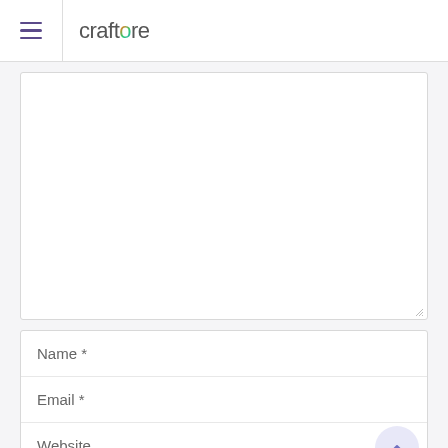craftcore
[Figure (screenshot): Large empty textarea input field with resize handle in bottom-right corner]
Name *
Email *
Website
[Figure (other): Unchecked checkbox]